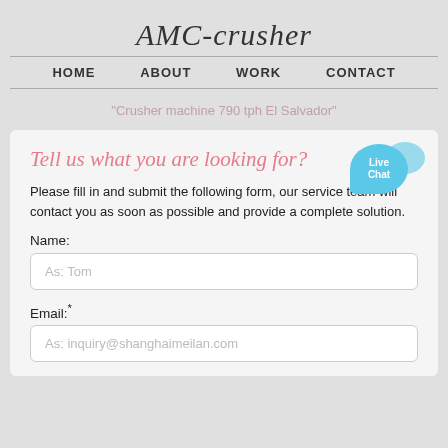AMC-crusher
HOME   ABOUT   WORK   CONTACT
"Crusher machine 790 tph El Salvador"
Tell us what you are looking for?
Please fill in and submit the following form, our service team will contact you as soon as possible and provide a complete solution.
Name:
As: Tom
Email:*
As: inquiry@shanghaimeilan.com